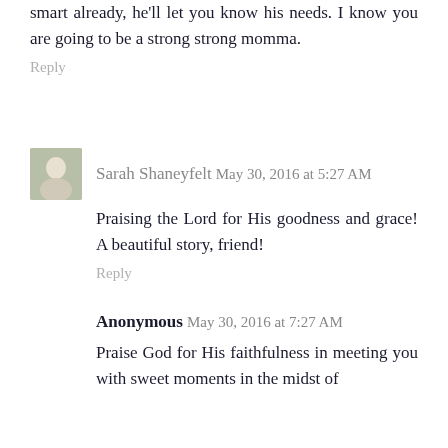smart already, he'll let you know his needs. I know you are going to be a strong strong momma.
Reply
Sarah Shaneyfelt May 30, 2016 at 5:27 AM
Praising the Lord for His goodness and grace! A beautiful story, friend!
Reply
Anonymous May 30, 2016 at 7:27 AM
Praise God for His faithfulness in meeting you with sweet moments in the midst of